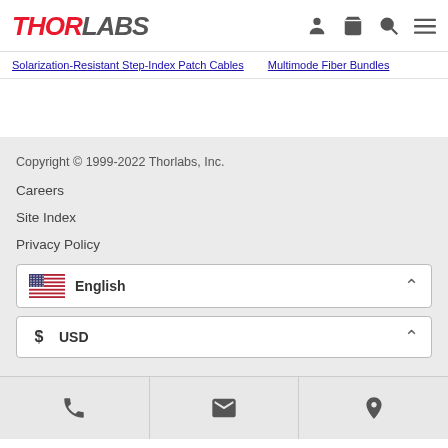THORLABS
Solarization-Resistant Step-Index Patch Cables   Multimode Fiber Bundles
Copyright © 1999-2022 Thorlabs, Inc.
Careers
Site Index
Privacy Policy
English
$ USD
Phone | Email | Location